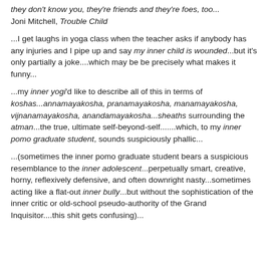they don't know you, they're friends and they're foes, too... Joni Mitchell, Trouble Child
...I get laughs in yoga class when the teacher asks if anybody has any injuries and I pipe up and say my inner child is wounded...but it's only partially a joke....which may be be precisely what makes it funny...
...my inner yogi'd like to describe all of this in terms of koshas...annamayakosha, pranamayakosha, manamayakosha, vijnanamayakosha, anandamayakosha...sheaths surrounding the atman...the true, ultimate self-beyond-self.......which, to my inner pomo graduate student, sounds suspiciously phallic...
...(sometimes the inner pomo graduate student bears a suspicious resemblance to the inner adolescent...perpetually smart, creative, horny, reflexively defensive, and often downright nasty...sometimes acting like a flat-out inner bully...but without the sophistication of the inner critic or old-school pseudo-authority of the Grand Inquisitor....this shit gets confusing)...